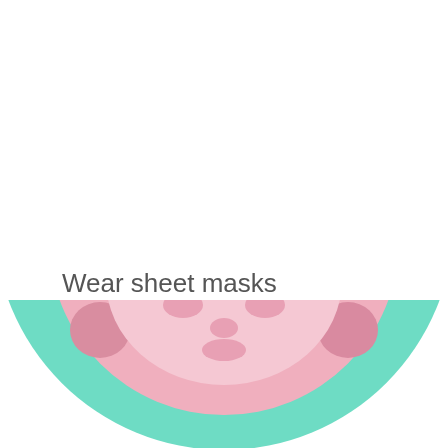Wear sheet masks
[Figure (illustration): Bottom half of a circular illustration showing a person wearing a pink sheet mask on a teal/mint green circular background. Only the lower portion of the circle is visible at the bottom of the page.]